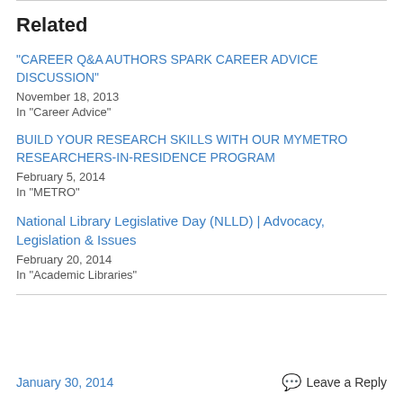Related
"CAREER Q&A AUTHORS SPARK CAREER ADVICE DISCUSSION"
November 18, 2013
In "Career Advice"
BUILD YOUR RESEARCH SKILLS WITH OUR MYMETRO RESEARCHERS-IN-RESIDENCE PROGRAM
February 5, 2014
In "METRO"
National Library Legislative Day (NLLD) | Advocacy, Legislation & Issues
February 20, 2014
In "Academic Libraries"
January 30, 2014    Leave a Reply